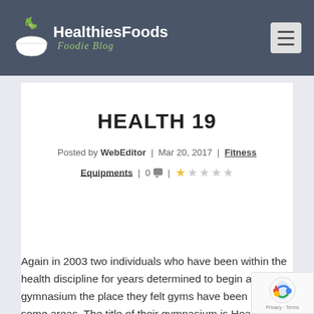HealthiesFoods Foodie Blog
HEALTH 19
Posted by WebEditor | Mar 20, 2017 | Fitness Equipments | 0 | ★☆☆☆☆
Again in 2003 two individuals who have been within the health discipline for years determined to begin a gymnasium the place they felt gyms have been miss in some areas. The title of their gymnasium is Health